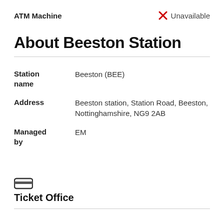ATM Machine — Unavailable
About Beeston Station
| Field | Value |
| --- | --- |
| Station name | Beeston (BEE) |
| Address | Beeston station, Station Road, Beeston, Nottinghamshire, NG9 2AB |
| Managed by | EM |
Ticket Office